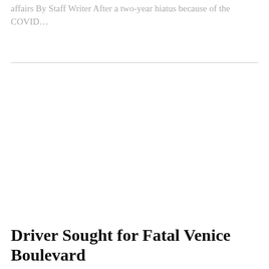affairs By Staff Writer After a two-year hiatus because of the COVID…
Driver Sought for Fatal Venice Boulevard